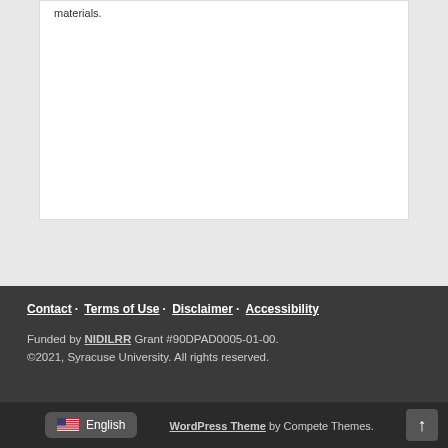materials.
Contact · Terms of Use · Disclaimer · Accessibility
Funded by NIDILRR Grant #90DPAD0005-01-00.
©2021, Syracuse University. All rights reserved.
WordPress Theme by Compete Themes.